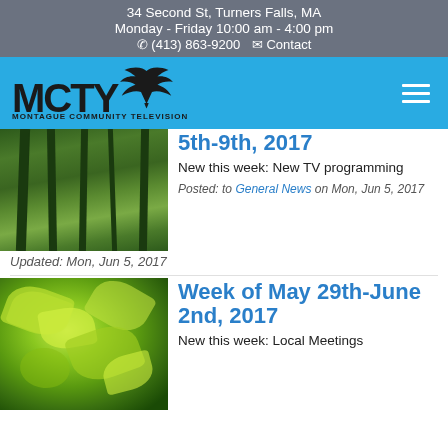34 Second St, Turners Falls, MA
Monday - Friday 10:00 am - 4:00 pm
☎ (413) 863-9200 ✉ Contact
[Figure (logo): MCTY Montague Community Television logo with eagle on cyan/blue background navigation bar]
5th-9th, 2017
New this week: New TV programming
Posted: to General News on Mon, Jun 5, 2017
[Figure (photo): Forest trees photo]
Updated: Mon, Jun 5, 2017
[Figure (photo): Green leaves close-up photo]
Week of May 29th-June 2nd, 2017
New this week: Local Meetings